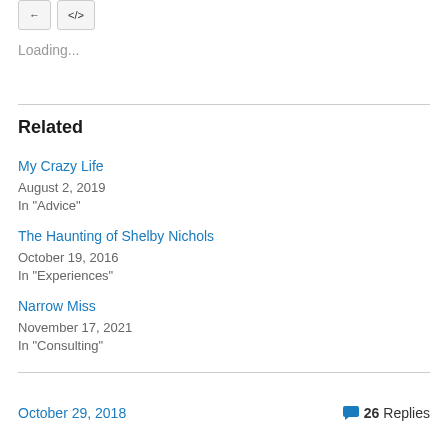Loading...
Related
My Crazy Life
August 2, 2019
In "Advice"
The Haunting of Shelby Nichols
October 19, 2016
In "Experiences"
Narrow Miss
November 17, 2021
In "Consulting"
October 29, 2018   💬 26 Replies